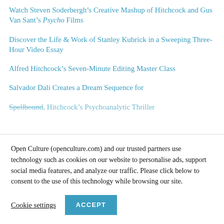Watch Steven Soderbergh’s Creative Mashup of Hitchcock and Gus Van Sant’s Psycho Films
Discover the Life & Work of Stanley Kubrick in a Sweeping Three-Hour Video Essay
Alfred Hitchcock’s Seven-Minute Editing Master Class
Salvador Dali Creates a Dream Sequence for Spellbound, Hitchcock’s Psychoanalytic Thriller
Open Culture (openculture.com) and our trusted partners use technology such as cookies on our website to personalise ads, support social media features, and analyze our traffic. Please click below to consent to the use of this technology while browsing our site.
Cookie settings   ACCEPT